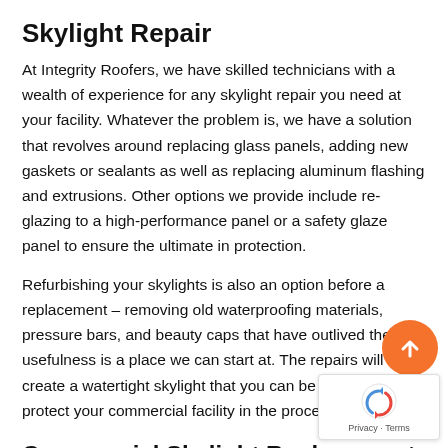Skylight Repair
At Integrity Roofers, we have skilled technicians with a wealth of experience for any skylight repair you need at your facility. Whatever the problem is, we have a solution that revolves around replacing glass panels, adding new gaskets or sealants as well as replacing aluminum flashing and extrusions. Other options we provide include re-glazing to a high-performance panel or a safety glaze panel to ensure the ultimate in protection.
Refurbishing your skylights is also an option before a replacement – removing old waterproofing materials, pressure bars, and beauty caps that have outlived their usefulness is a place we can start at. The repairs will create a watertight skylight that you can be proud of and protect your commercial facility in the process.
Commercial Skylight Replacement